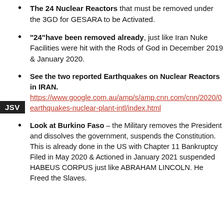The 24 Nuclear Reactors that must be removed under the 3GD for GESARA to be Activated.
"24"have been removed already, just like Iran Nuke Facilities were hit with the Rods of God in December 2019 & January 2020.
See the two reported Earthquakes on Nuclear Reactors in IRAN. https://www.google.com.au/amp/s/amp.cnn.com/cnn/2020/0 earthquakes-nuclear-plant-intl/index.html
Look at Burkino Faso – the Military removes the President and dissolves the government, suspends the Constitution. This is already done in the US with Chapter 11 Bankruptcy Filed in May 2020 & Actioned in January 2021 suspended HABEUS CORPUS just like ABRAHAM LINCOLN. He Freed the Slaves.